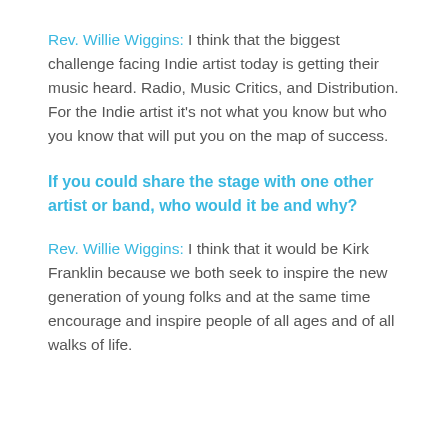Rev. Willie Wiggins: I think that the biggest challenge facing Indie artist today is getting their music heard. Radio, Music Critics, and Distribution. For the Indie artist it's not what you know but who you know that will put you on the map of success.
If you could share the stage with one other artist or band, who would it be and why?
Rev. Willie Wiggins: I think that it would be Kirk Franklin because we both seek to inspire the new generation of young folks and at the same time encourage and inspire people of all ages and of all walks of life.